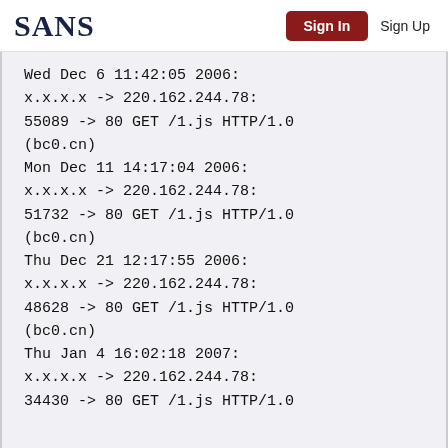SANS | Sign In | Sign Up
Wed Dec 6 11:42:05 2006:
x.x.x.x -> 220.162.244.78:
55089 -> 80 GET /1.js HTTP/1.0
(bc0.cn)
Mon Dec 11 14:17:04 2006:
x.x.x.x -> 220.162.244.78:
51732 -> 80 GET /1.js HTTP/1.0
(bc0.cn)
Thu Dec 21 12:17:55 2006:
x.x.x.x -> 220.162.244.78:
48628 -> 80 GET /1.js HTTP/1.0
(bc0.cn)
Thu Jan 4 16:02:18 2007:
x.x.x.x -> 220.162.244.78:
34430 -> 80 GET /1.js HTTP/1.0